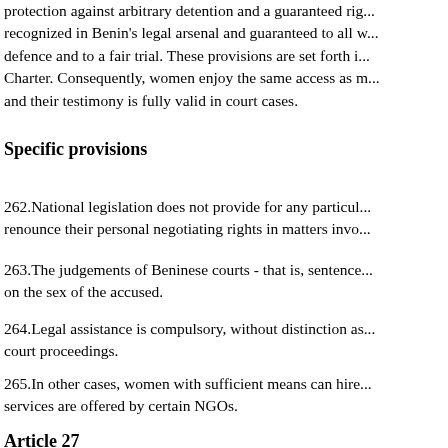protection against arbitrary detention and a guaranteed right, recognized in Benin's legal arsenal and guaranteed to all w... defence and to a fair trial. These provisions are set forth i... Charter. Consequently, women enjoy the same access as m... and their testimony is fully valid in court cases.
Specific provisions
262.National legislation does not provide for any particu... renounce their personal negotiating rights in matters invo...
263.The judgements of Beninese courts - that is, sentence... on the sex of the accused.
264.Legal assistance is compulsory, without distinction as... court proceedings.
265.In other cases, women with sufficient means can hire ... services are offered by certain NGOs.
Article 27
Constitutional provisions
266.The Constitution...